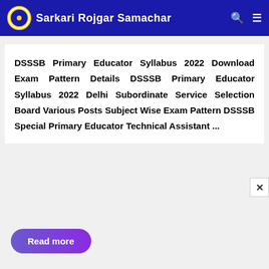Sarkari Rojgar Samachar
DSSSB Primary Educator Syllabus 2022 Download Exam Pattern Details DSSSB Primary Educator Syllabus 2022 Delhi Subordinate Service Selection Board Various Posts Subject Wise Exam Pattern DSSSB Special Primary Educator Technical Assistant ...
Read more